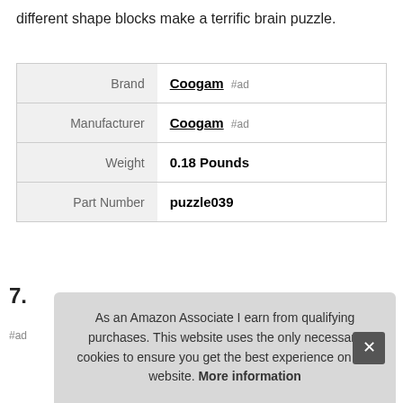different shape blocks make a terrific brain puzzle.
| Brand | Coogam #ad |
| Manufacturer | Coogam #ad |
| Weight | 0.18 Pounds |
| Part Number | puzzle039 |
More information #ad
7.
#ad
As an Amazon Associate I earn from qualifying purchases. This website uses the only necessary cookies to ensure you get the best experience on our website. More information